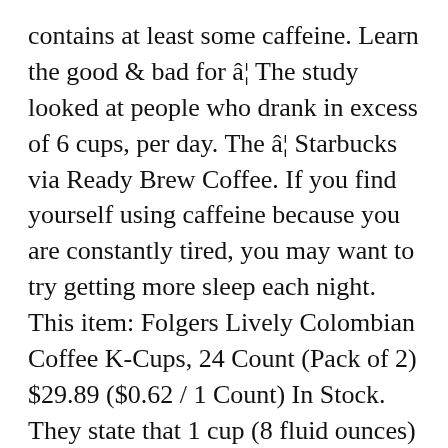contains at least some caffeine. Learn the good & bad for â¦ The study looked at people who drank in excess of 6 cups, per day. The â¦ Starbucks via Ready Brew Coffee. If you find yourself using caffeine because you are constantly tired, you may want to try getting more sleep each night. This item: Folgers Lively Colombian Coffee K-Cups, 24 Count (Pack of 2) $29.89 ($0.62 / 1 Count) In Stock. They state that 1 cup (8 fluid ounces) of prepared coffee has contains 96 milligrams of caffeine. Lauren graduated from Western Michigan University and completed her dietetic internship at Michigan State University. Folgers 100% Colombian coffee